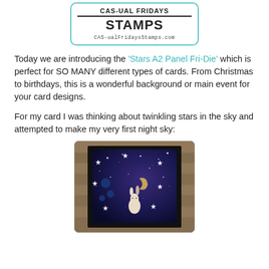[Figure (logo): CAS-ual Fridays Stamps logo in a teal-bordered rounded rectangle box with the text CAS-ual Fridays STAMPS and URL CAS-ualFridaysStamps.com]
Today we are introducing the 'Stars A2 Panel Fri-Die' which is perfect for SO MANY different types of cards. From Christmas to birthdays, this is a wonderful background or main event for your card designs.
For my card I was thinking about twinkling stars in the sky and attempted to make my very first night sky:
[Figure (photo): Photo of a handmade card featuring a night sky with white stars, a crescent moon, a bunny, and a dark navy/purple background with glitter, mounted on black card stock, placed on a wood plank surface.]